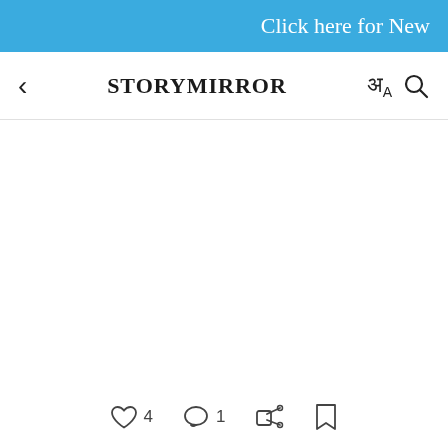Click here for New
< STORYMIRROR अ A 🔍
[Figure (screenshot): Empty white content area of a StoryMirror app page]
♡ 4  ○ 1  share  bookmark